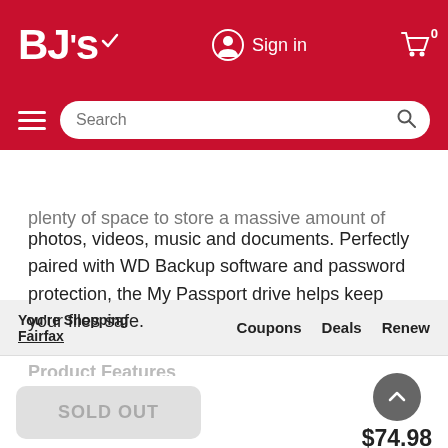[Figure (screenshot): BJ's Wholesale Club website header with red background, BJ's logo, Sign in button, cart icon with 0 badge, hamburger menu, and search bar]
You're Shopping Fairfax | Coupons | Deals | Renew
photos, videos, music and documents. Perfectly paired with WD Backup software and password protection, the My Passport drive helps keep your files safe.
Product Features
READ MORE
Specifications
SOLD OUT
$74.98